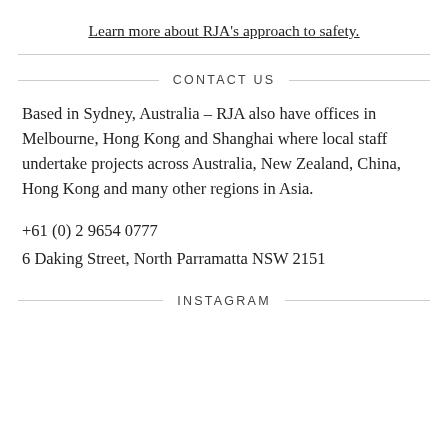Learn more about RJA's approach to safety.
CONTACT US
Based in Sydney, Australia – RJA also have offices in Melbourne, Hong Kong and Shanghai where local staff undertake projects across Australia, New Zealand, China, Hong Kong and many other regions in Asia.
+61 (0) 2 9654 0777
6 Daking Street, North Parramatta NSW 2151
INSTAGRAM